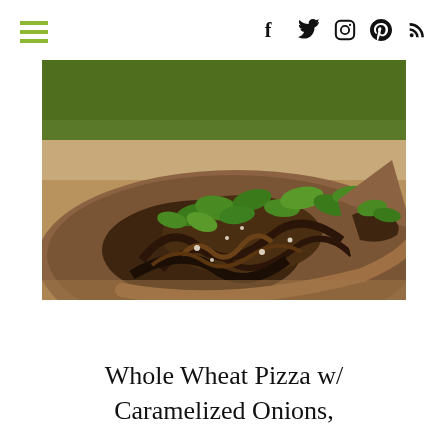navigation header with hamburger menu and social icons (f, twitter, instagram, pinterest, rss)
[Figure (photo): Close-up photo of a whole wheat pizza topped with caramelized onions, mushrooms, blue cheese crumbles, and fresh cilantro, served on a wooden cutting board outdoors.]
Whole Wheat Pizza w/ Caramelized Onions,